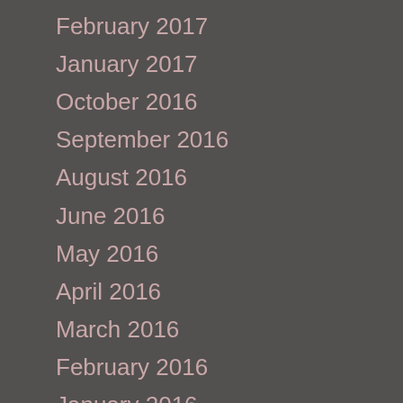February 2017
January 2017
October 2016
September 2016
August 2016
June 2016
May 2016
April 2016
March 2016
February 2016
January 2016
December 2015
November 2015
October 2015
September 2015
August 2015
May 2015
April 2015